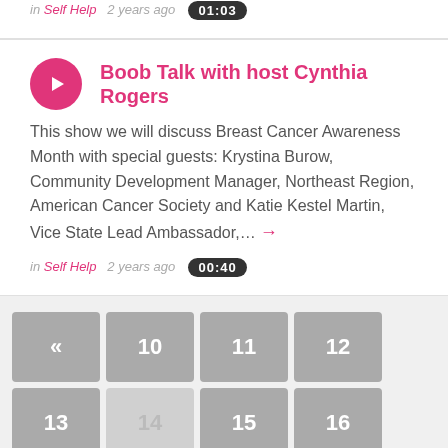in Self Help  2 years ago  01:03
Boob Talk with host Cynthia Rogers
This show we will discuss Breast Cancer Awareness Month with special guests: Krystina Burow, Community Development Manager, Northeast Region, American Cancer Society and Katie Kestel Martin, Vice State Lead Ambassador,...
in Self Help  2 years ago  00:40
« 10 11 12 13 14 15 16 17 18 »
Show Entries